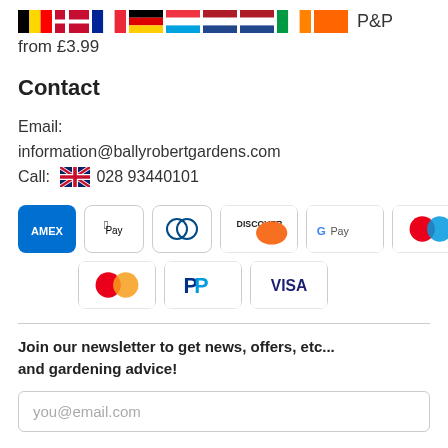[Figure (illustration): Row of European country flags (Belgium, Denmark, France, Germany, Luxembourg, Netherlands/red-white-blue, Netherlands, Ireland, Netherlands/orange) followed by 'P&P' text label]
from £3.99
Contact
Email:
information@ballyrobertgardens.com
Call: 🇬🇧 028 93440101
[Figure (illustration): Payment method icons: American Express, Apple Pay, Diners Club, Discover, Google Pay, Maestro (top row); Mastercard, PayPal, Visa (bottom row)]
Join our newsletter to get news, offers, etc... and gardening advice!
you@email.com